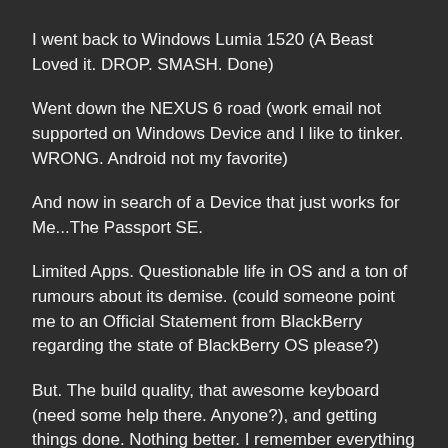I went back to Windows Lumia 1520 (A Beast Loved it. DROP. SMASH. Done)
Went down the NEXUS 6 road (work email not supported on Windows Device and I like to tinker. WRONG. Android not my favorite)
And now in search of a Device that just works for Me...The Passport SE.
Limited Apps. Questionable life in OS and a ton of rumours about its demise. (could someone point me to an Official Statement from BlackBerry regarding the state of BlackBerry OS please?)
But. The build quality, that awesome keyboard (need some help there. Anyone?), and getting things done. Nothing better. I remember everything I liked before.